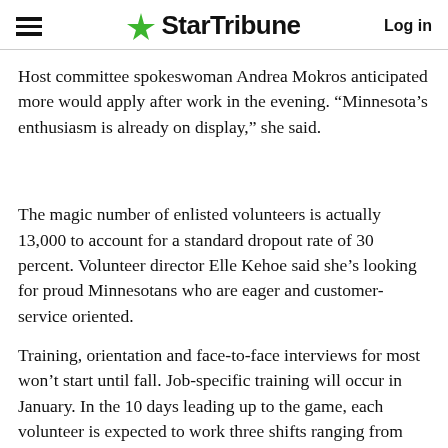StarTribune  Log in
Host committee spokeswoman Andrea Mokros anticipated more would apply after work in the evening. “Minnesota’s enthusiasm is already on display,” she said.
The magic number of enlisted volunteers is actually 13,000 to account for a standard dropout rate of 30 percent. Volunteer director Elle Kehoe said she’s looking for proud Minnesotans who are eager and customer-service oriented.
Training, orientation and face-to-face interviews for most won’t start until fall. Job-specific training will occur in January. In the 10 days leading up to the game, each volunteer is expected to work three shifts ranging from four to six hours. There are no